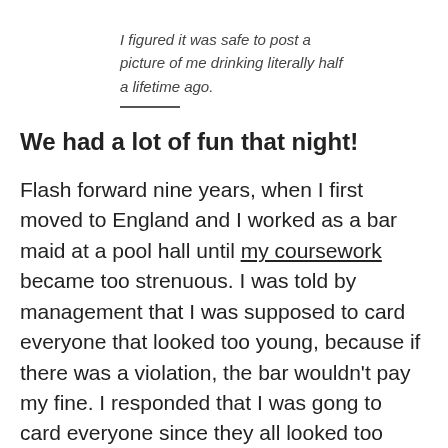I figured it was safe to post a picture of me drinking literally half a lifetime ago.
We had a lot of fun that night!
Flash forward nine years, when I first moved to England and I worked as a bar maid at a pool hall until my coursework became too strenuous. I was told by management that I was supposed to card everyone that looked too young, because if there was a violation, the bar wouldn't pay my fine. I responded that I was gong to card everyone since they all looked too young — completely